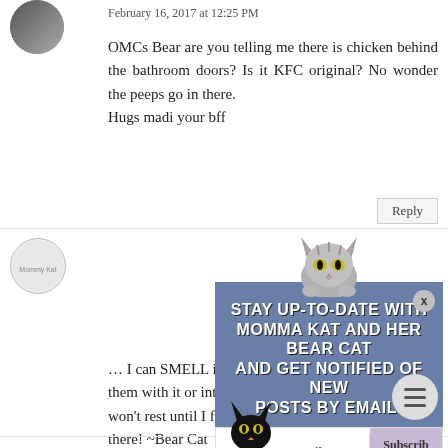February 16, 2017 at 12:25 PM
OMCs Bear are you telling me there is chicken behind the bathroom doors? Is it KFC original? No wonder the peeps go in there.
Hugs madi your bff
[Figure (illustration): Popup modal with cat illustration. Header: STAY UP-TO-DATE WITH MOMMA KAT AND HER BEAR CAT AND GET NOTIFIED OF NEW POSTS BY EMAIL! with a dark background and cartoon cat at top and bottom. Footer has email input and Subscribe button.]
... I can SMELL it ... yet I haven't caught them with it or intercepted the deli ... I won't rest until I find out what's going on in there! ~Bear Cat